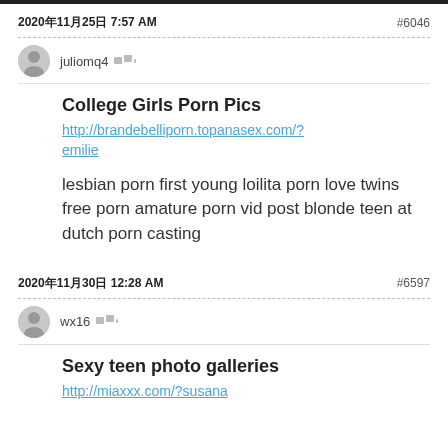2020年11月25日 7:57 AM　　#6046
juliomq4
College Girls Porn Pics
http://brandebelliporn.topanasex.com/?emilie
lesbian porn first young loilita porn love twins free porn amature porn vid post blonde teen at dutch porn casting
2020年11月30日 12:28 AM　　#6597
wx16
Sexy teen photo galleries
http://miaxxx.com/?susana